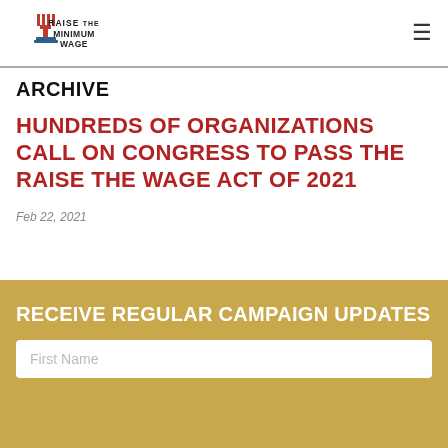Raise the Minimum Wage
ARCHIVE
HUNDREDS OF ORGANIZATIONS CALL ON CONGRESS TO PASS THE RAISE THE WAGE ACT OF 2021
Feb 22, 2021
RECEIVE REGULAR CAMPAIGN UPDATES